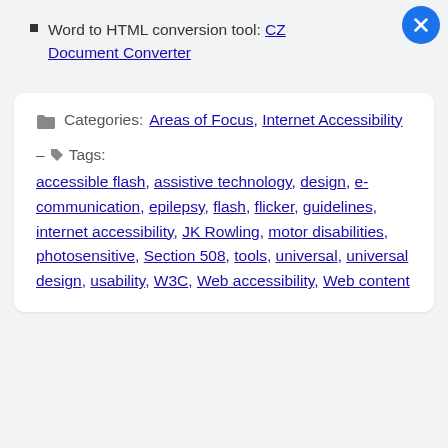Word to HTML conversion tool: CZ Document Converter
Categories: Areas of Focus, Internet Accessibility
Tags: accessible flash, assistive technology, design, e-communication, epilepsy, flash, flicker, guidelines, internet accessibility, JK Rowling, motor disabilities, photosensitive, Section 508, tools, universal, universal design, usability, W3C, Web accessibility, Web content